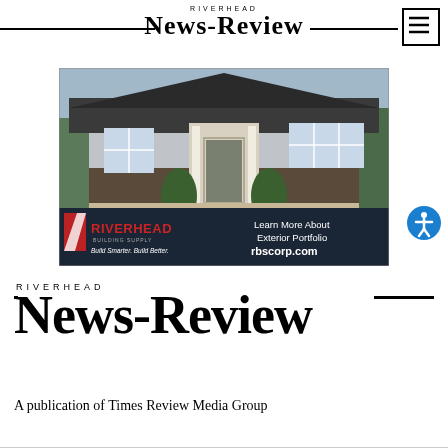RIVERHEAD NEWS-REVIEW
[Figure (illustration): Advertisement for Riverhead Building Supply showing a craftsman-style house exterior with dark siding, white trim, and stone accents. Banner reads: RIVERHEAD BUILDING SUPPLY - Build Smarter. Build Better. Learn More About Exterior Portfolio rbscorp.com]
RIVERHEAD NEWS-REVIEW
A publication of Times Review Media Group